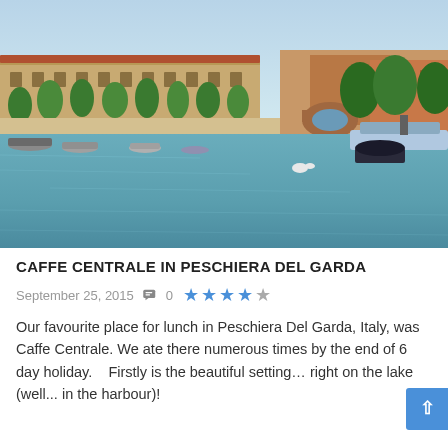[Figure (photo): Harbour scene in Peschiera del Garda, Italy. Calm teal-blue water with small boats moored along a promenade lined with historic yellow-ochre buildings and green trees. An arched bridge is visible in the background on the right side. Clear blue sky.]
CAFFE CENTRALE IN PESCHIERA DEL GARDA
September 25, 2015  0  ★★★★☆
Our favourite place for lunch in Peschiera Del Garda, Italy, was Caffe Centrale. We ate there numerous times by the end of 6 day holiday.    Firstly is the beautiful setting… right on the lake (well... in the harbour)!